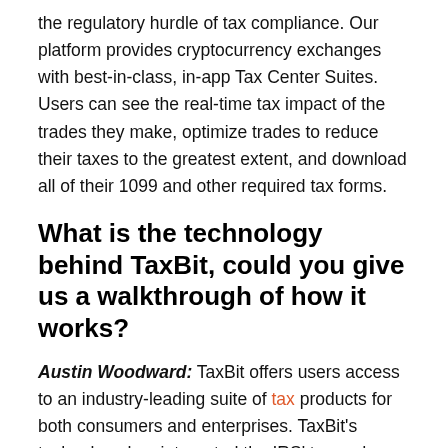the regulatory hurdle of tax compliance. Our platform provides cryptocurrency exchanges with best-in-class, in-app Tax Center Suites.  Users can see the real-time tax impact of the trades they make, optimize trades to reduce their taxes to the greatest extent, and download all of their 1099 and other required tax forms.
What is the technology behind TaxBit, could you give us a walkthrough of how it works?
Austin Woodward: TaxBit offers users access to an industry-leading suite of tax products for both consumers and enterprises. TaxBit's technology has integrated the IRS' tax code related to cryptocurrency and automated the data ingestion process to automate users' taxes. Simplifying the experience for consumers as well as enterprises customers for their taxes.